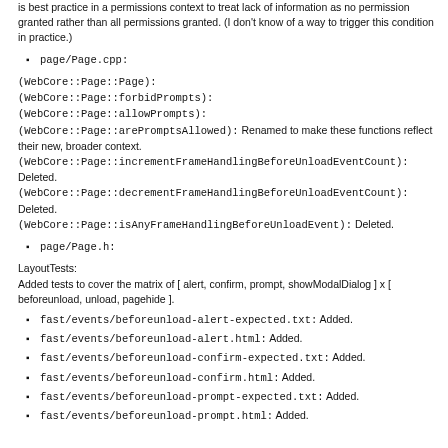is best practice in a permissions context to treat lack of information as no permission granted rather than all permissions granted. (I don't know of a way to trigger this condition in practice.)
page/Page.cpp:
(WebCore::Page::Page):
(WebCore::Page::forbidPrompts):
(WebCore::Page::allowPrompts):
(WebCore::Page::arePromptsAllowed): Renamed to make these functions reflect their new, broader context.
(WebCore::Page::incrementFrameHandlingBeforeUnloadEventCount): Deleted.
(WebCore::Page::decrementFrameHandlingBeforeUnloadEventCount): Deleted.
(WebCore::Page::isAnyFrameHandlingBeforeUnloadEvent): Deleted.
page/Page.h:
LayoutTests:
Added tests to cover the matrix of [ alert, confirm, prompt, showModalDialog ] x [ beforeunload, unload, pagehide ].
fast/events/beforeunload-alert-expected.txt: Added.
fast/events/beforeunload-alert.html: Added.
fast/events/beforeunload-confirm-expected.txt: Added.
fast/events/beforeunload-confirm.html: Added.
fast/events/beforeunload-prompt-expected.txt: Added.
fast/events/beforeunload-prompt.html: Added.